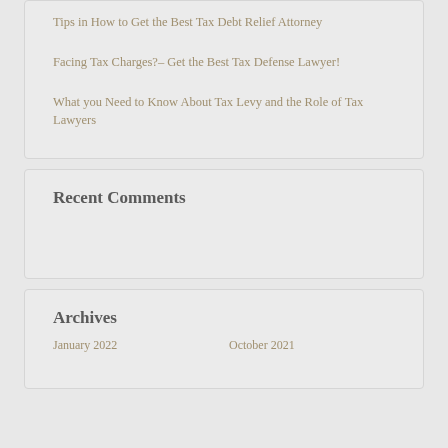Tips in How to Get the Best Tax Debt Relief Attorney
Facing Tax Charges?– Get the Best Tax Defense Lawyer!
What you Need to Know About Tax Levy and the Role of Tax Lawyers
Recent Comments
Archives
January 2022    October 2021